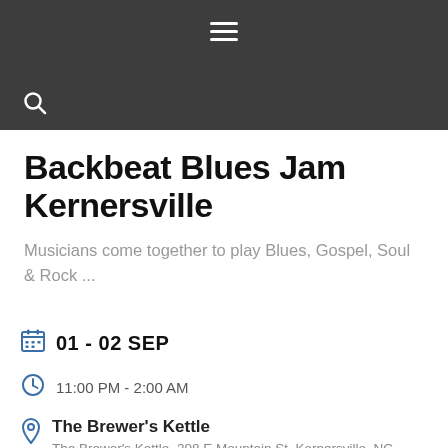Navigation header with hamburger menu and search icon
Backbeat Blues Jam Kernersville
Musicians come together to play Blues, Gospel, Soul & Rock ...
01 - 02 SEP
11:00 PM - 2:00 AM
The Brewer's Kettle
The Brewer's Kettle, 308 E Mountain St, Kernersville, NC 27284, USA